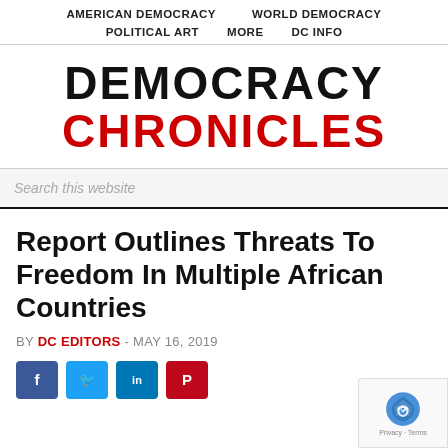AMERICAN DEMOCRACY   WORLD DEMOCRACY   POLITICAL ART   MORE   DC INFO
DEMOCRACY CHRONICLES
Search this website
Report Outlines Threats To Freedom In Multiple African Countries
BY DC EDITORS - MAY 16, 2019